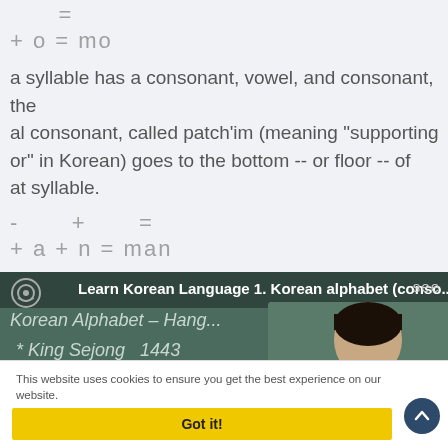a syllable has a consonant, vowel, and consonant, the al consonant, called patch'im (meaning "supporting or" in Korean) goes to the bottom -- or floor -- of at syllable.
[Figure (screenshot): Video thumbnail showing 'Learn Korean Language 1. Korean alphabet (conso...' with a person in front of a chalkboard showing 'Korean Alphabet - Hang...' and '* King Sejong 1443']
This website uses cookies to ensure you get the best experience on our website.
Got it!